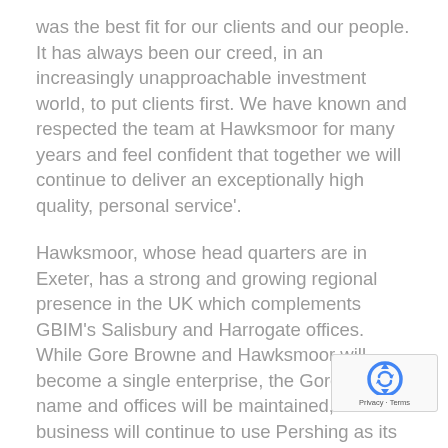was the best fit for our clients and our people. It has always been our creed, in an increasingly unapproachable investment world, to put clients first. We have known and respected the team at Hawksmoor for many years and feel confident that together we will continue to deliver an exceptionally high quality, personal service'.
Hawksmoor, whose head quarters are in Exeter, has a strong and growing regional presence in the UK which complements GBIM's Salisbury and Harrogate offices. While Gore Browne and Hawksmoor will become a single enterprise, the Gore Browne name and offices will be maintained, and the business will continue to use Pershing as its custodian.
Hawksmoor CEO Sarah Soar said 'We are delighted to be welcoming the GBIM team on